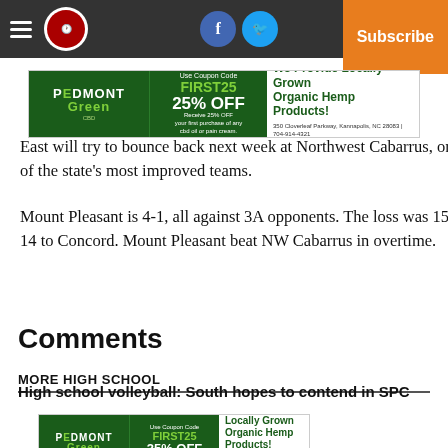Navigation bar with hamburger menu, logo, Facebook icon, Twitter icon, Log In, Subscribe
[Figure (infographic): Piedmont Green CBD advertisement banner: Use Coupon Code FIRST25, Receive 25% OFF your first purchase of any cbd oil or pain cream. We Provide Locally Grown Organic Hemp Products! 350 Cloverleaf Parkway, Kannapolis, NC 28083 | 704-914-4321 Visit us online at: www.piedmontgreencbd.com]
East will try to bounce back next week at Northwest Cabarrus, one of the state's most improved teams.
Mount Pleasant is 4-1, all against 3A opponents. The loss was 15-14 to Concord. Mount Pleasant beat NW Cabarrus in overtime.
Comments
MORE HIGH SCHOOL
High school volleyball: South hopes to contend in SPC
[Figure (infographic): Piedmont Green CBD advertisement banner (bottom): Use Coupon Code FIRST25, Receive 25% OFF your first purchase of any cbd oil or pain cream. We Provide Locally Grown Organic Hemp Products! 350 Cloverleaf Parkway, Kannapolis, NC 28083 | 704-914-4321 Visit us online at: www.piedmontgreencbd.com]